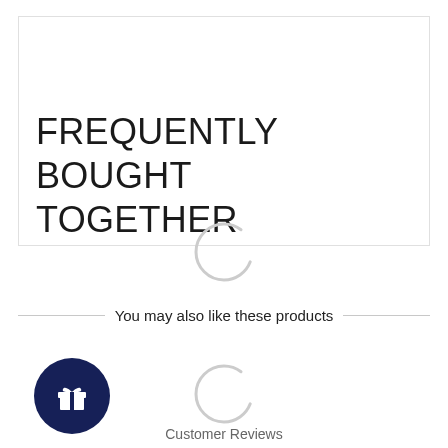FREQUENTLY BOUGHT TOGETHER
[Figure (illustration): Loading spinner (arc) centered below the frequently bought together box]
You may also like these products
[Figure (illustration): Dark navy blue circle with white gift/present icon]
[Figure (illustration): Loading spinner (arc) to the right of the gift icon]
Customer Reviews